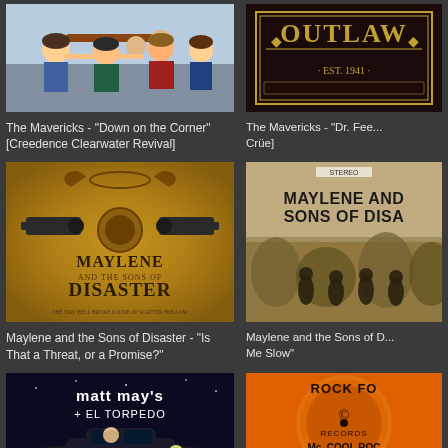[Figure (illustration): Album cover cartoon illustration - The Mavericks Down on the Corner]
The Mavericks - "Down on the Corner" [Creedence Clearwater Revival]
[Figure (illustration): Album cover - The Mavericks Dr. Fee (Mötley Crüe)]
The Mavericks - "Dr. Fee... Crüe]
[Figure (illustration): Maylene and the Sons of Disaster album cover - ornate Western style with revolvers and text]
Maylene and the Sons of Disaster - "Is That a Threat, or a Promise?"
[Figure (photo): Maylene and the Sons of Disaster album cover - band photo in nature]
Maylene and the Sons of D... Me Slow"
[Figure (illustration): Matt Mays El Torpedo album cover - dark car scene]
[Figure (illustration): Rock For Records / Mc Cool Roc orange record label]